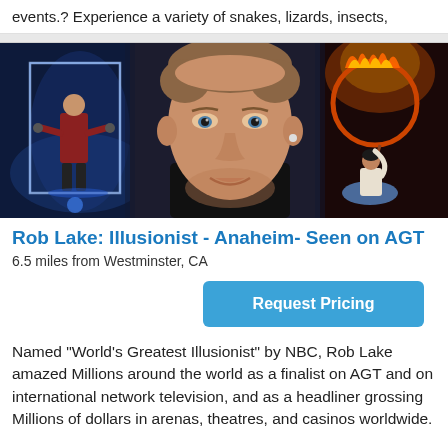events.? Experience a variety of snakes, lizards, insects,
[Figure (photo): Composite photo showing Rob Lake as a magician/illusionist: close-up face in center, performer in a glass box with blue lighting on left, fire hoop circus performer on right against dark background.]
Rob Lake: Illusionist - Anaheim- Seen on AGT
6.5 miles from Westminster, CA
Request Pricing
Named "World's Greatest Illusionist" by NBC, Rob Lake amazed Millions around the world as a finalist on AGT and on international network television, and as a headliner grossing Millions of dollars in arenas, theatres, and casinos worldwide.